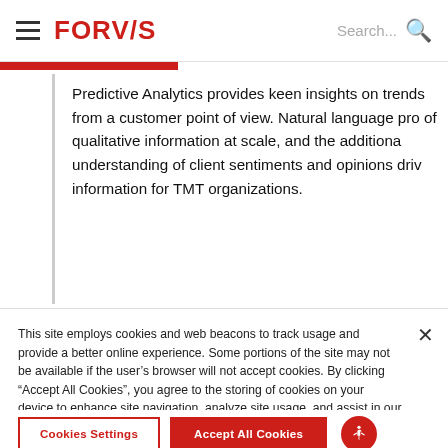FORVIS | Search...
Predictive Analytics provides keen insights on trends from a customer point of view. Natural language pro of qualitative information at scale, and the additiona understanding of client sentiments and opinions dri information for TMT organizations.
This site employs cookies and web beacons to track usage and provide a better online experience. Some portions of the site may not be available if the user's browser will not accept cookies. By clicking “Accept All Cookies”, you agree to the storing of cookies on your device to enhance site navigation, analyze site usage, and assist in our marketing efforts. Cookie Notice